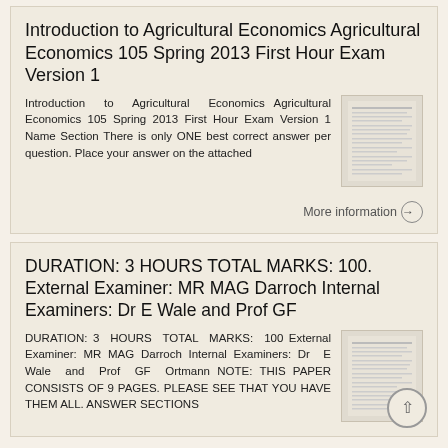Introduction to Agricultural Economics Agricultural Economics 105 Spring 2013 First Hour Exam Version 1
Introduction to Agricultural Economics Agricultural Economics 105 Spring 2013 First Hour Exam Version 1 Name Section There is only ONE best correct answer per question. Place your answer on the attached
[Figure (screenshot): Thumbnail image of the exam document]
More information →
DURATION: 3 HOURS TOTAL MARKS: 100. External Examiner: MR MAG Darroch Internal Examiners: Dr E Wale and Prof GF
DURATION: 3 HOURS TOTAL MARKS: 100 External Examiner: MR MAG Darroch Internal Examiners: Dr E Wale and Prof GF Ortmann NOTE: THIS PAPER CONSISTS OF 9 PAGES. PLEASE SEE THAT YOU HAVE THEM ALL. ANSWER SECTIONS
[Figure (screenshot): Thumbnail image of the second exam document]